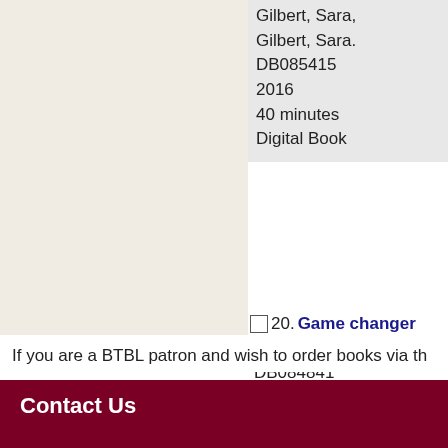Gilbert, Sara,
Gilbert, Sara.
DB085415
2016
40 minutes
Digital Book
20. Game changer
Coy, John.
DB084841
2016
15 minutes
Digital Book
Select All  Clear All  Add Se
If you are a BTBL patron and wish to order books via th
Contact Us